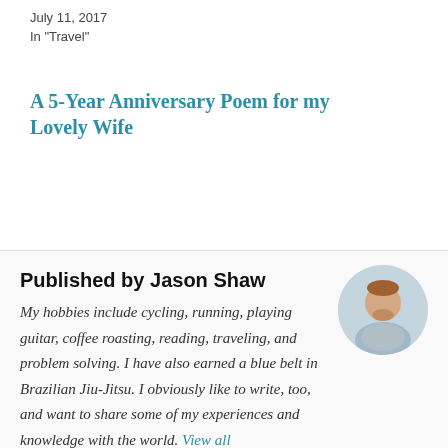July 11, 2017
In "Travel"
A 5-Year Anniversary Poem for my Lovely Wife
October 16, 2015
Published by Jason Shaw
My hobbies include cycling, running, playing guitar, coffee roasting, reading, traveling, and problem solving. I have also earned a blue belt in Brazilian Jiu-Jitsu. I obviously like to write, too, and want to share some of my experiences and knowledge with the world. View all